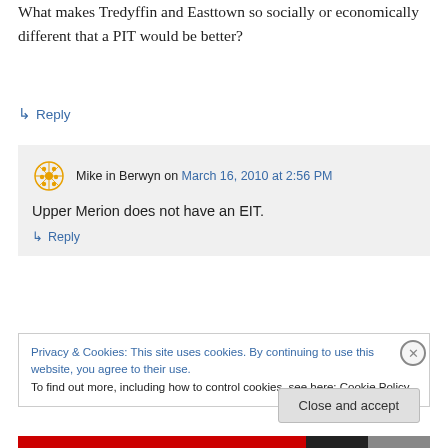What makes Tredyffin and Easttown so socially or economically different that a PIT would be better?
↳ Reply
Mike in Berwyn on March 16, 2010 at 2:56 PM
Upper Merion does not have an EIT.
↳ Reply
Privacy & Cookies: This site uses cookies. By continuing to use this website, you agree to their use. To find out more, including how to control cookies, see here: Cookie Policy
Close and accept